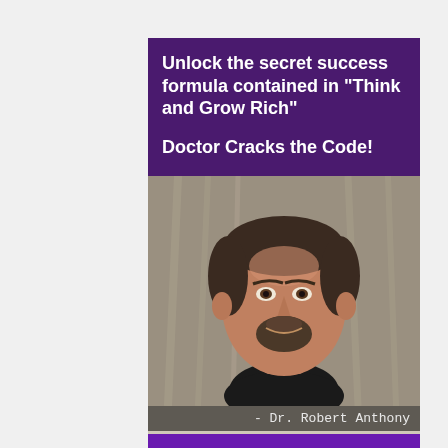Unlock the secret success formula contained in "Think and Grow Rich"
Doctor Cracks the Code!
[Figure (photo): Photo of Dr. Robert Anthony, a middle-aged man with dark hair and a beard, smiling, with caption '- Dr. Robert Anthony']
Uncover the secrets for some of the most successful people on the planet...
[Figure (illustration): Bottom strip showing the cover of 'The Secret' book with gold italic text on a reddish-brown background]